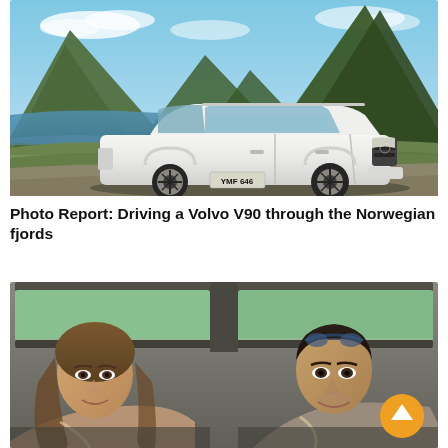[Figure (photo): A white Volvo V90 Cross Country estate car parked in a scenic fjord landscape in Norway, with mountains and blue water in the background. License plate reads YMF 646.]
Photo Report: Driving a Volvo V90 through the Norwegian fjords
[Figure (photo): Two people (a woman and a man) sitting inside a car, smiling and looking out the window. A circular orange scroll-to-top button is visible in the bottom-right corner.]